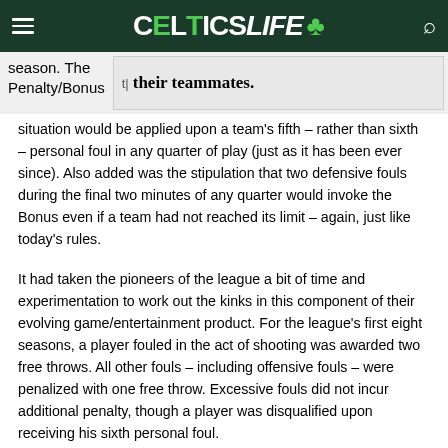CelticsLife
[Figure (screenshot): Partial image showing text 'their teammates.' in bold serif font on a light background]
season. The Penalty/Bonus situation would be applied upon a team's fifth – rather than sixth – personal foul in any quarter of play (just as it has been ever since). Also added was the stipulation that two defensive fouls during the final two minutes of any quarter would invoke the Bonus even if a team had not reached its limit – again, just like today's rules.
It had taken the pioneers of the league a bit of time and experimentation to work out the kinks in this component of their evolving game/entertainment product. For the league's first eight seasons, a player fouled in the act of shooting was awarded two free throws. All other fouls – including offensive fouls – were penalized with one free throw. Excessive fouls did not incur additional penalty, though a player was disqualified upon receiving his sixth personal foul.